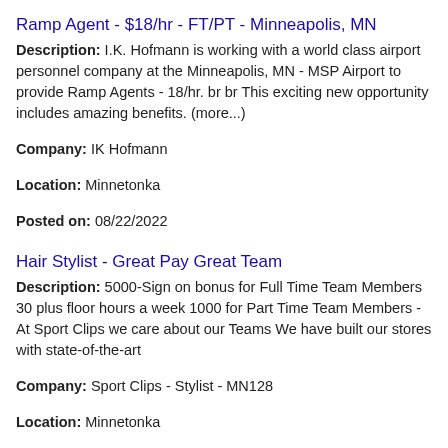Ramp Agent - $18/hr - FT/PT - Minneapolis, MN
Description: I.K. Hofmann is working with a world class airport personnel company at the Minneapolis, MN - MSP Airport to provide Ramp Agents - 18/hr. br br This exciting new opportunity includes amazing benefits. (more...)
Company: IK Hofmann
Location: Minnetonka
Posted on: 08/22/2022
Hair Stylist - Great Pay Great Team
Description: 5000-Sign on bonus for Full Time Team Members 30 plus floor hours a week 1000 for Part Time Team Members -At Sport Clips we care about our Teams We have built our stores with state-of-the-art
Company: Sport Clips - Stylist - MN128
Location: Minnetonka
Posted on: 08/22/2022
Salary in Minneapolis, Minnesota Area | More details for Minneapolis, Minnesota Jobs |Salary
Professional Movers - Immediately Hiring
Description: 17.50- 22.00 /hour - DOES NOT INCLUDE TIPS,